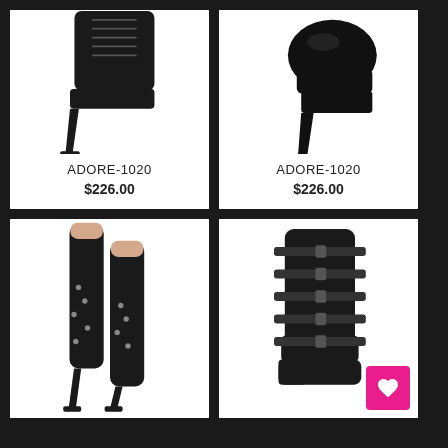[Figure (photo): Black platform ankle boot with lace-up front and very high stiletto heel on white background]
ADORE-1020
$226.00
[Figure (photo): Black patent platform high heel shoe/bootie with very high stiletto heel on white background]
ADORE-1020
$226.00
[Figure (photo): Black patent thigh-high stiletto boots with chain and stud decorations on white background]
[Figure (photo): Black leather mid-calf platform boots with multiple buckle straps on white background]